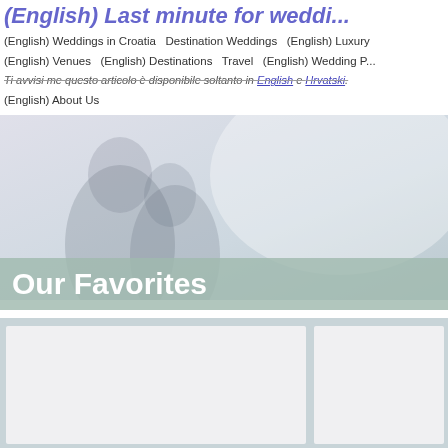(English) Last minute for weddin...
(English) Weddings in Croatia   Destination Weddings   (English) Luxury   (English) Venues   (English) Destinations   Travel   (English) Wedding P...   (English) About Us
Ti avvisi me questo articolo è disponibile soltanto in English e Hrvatski.
Our Favorites
[Figure (photo): Hero image showing silhouette of couple, light faded background with muted blue-grey tones]
[Figure (photo): Large light-colored card placeholder]
[Figure (photo): Small light-colored card placeholder]